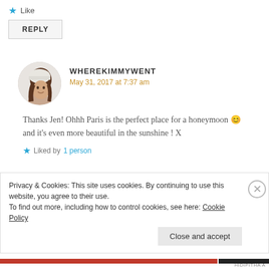★ Like
REPLY
WHEREKIMMYWENT
May 31, 2017 at 7:37 am
[Figure (photo): Circular avatar photo of a woman wearing a white beanie hat, smiling slightly, with brown hair.]
Thanks Jen! Ohhh Paris is the perfect place for a honeymoon 😊 and it's even more beautiful in the sunshine ! X
★ Liked by 1 person
Privacy & Cookies: This site uses cookies. By continuing to use this website, you agree to their use. To find out more, including how to control cookies, see here: Cookie Policy
Close and accept